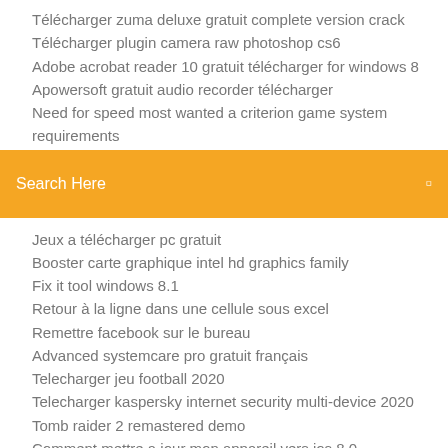Télécharger zuma deluxe gratuit complete version crack
Télécharger plugin camera raw photoshop cs6
Adobe acrobat reader 10 gratuit télécharger for windows 8
Apowersoft gratuit audio recorder télécharger
Need for speed most wanted a criterion game system requirements
[Figure (screenshot): Search bar with orange background and 'Search Here' placeholder text with a small icon on the right]
Jeux a télécharger pc gratuit
Booster carte graphique intel hd graphics family
Fix it tool windows 8.1
Retour à la ligne dans une cellule sous excel
Remettre facebook sur le bureau
Advanced systemcare pro gratuit français
Telecharger jeu football 2020
Telecharger kaspersky internet security multi-device 2020
Tomb raider 2 remastered demo
Comment mettre a jour mon appareil vers ios 8.0